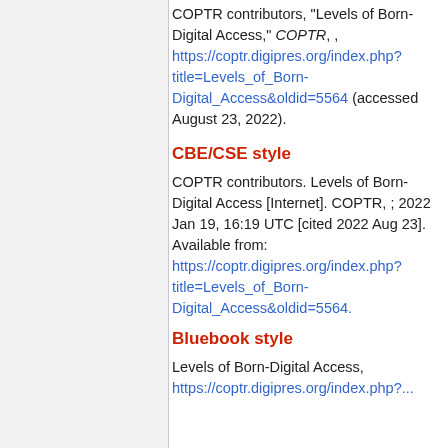COPTR contributors, "Levels of Born-Digital Access," COPTR, , https://coptr.digipres.org/index.php?title=Levels_of_Born-Digital_Access&oldid=5564 (accessed August 23, 2022).
CBE/CSE style
COPTR contributors. Levels of Born-Digital Access [Internet]. COPTR, ; 2022 Jan 19, 16:19 UTC [cited 2022 Aug 23]. Available from: https://coptr.digipres.org/index.php?title=Levels_of_Born-Digital_Access&oldid=5564.
Bluebook style
Levels of Born-Digital Access, https://coptr.digipres.org/index.php?...